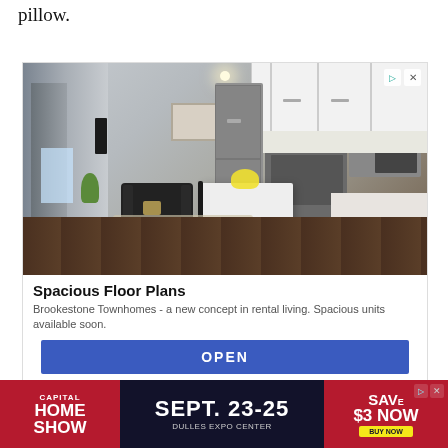pillow.
[Figure (photo): Interior photo of a modern open-plan apartment showing a kitchen with white cabinets and stainless steel appliances, a living area with dark sofa, a kitchen island with bar stools, yellow flowers, and hardwood floors.]
Spacious Floor Plans
Brookestone Townhomes - a new concept in rental living. Spacious units available soon.
OPEN
[Figure (infographic): Banner advertisement for Capital Home Show, September 23-25 at Dulles Expo Center. Save $3 Now - Buy Now button.]